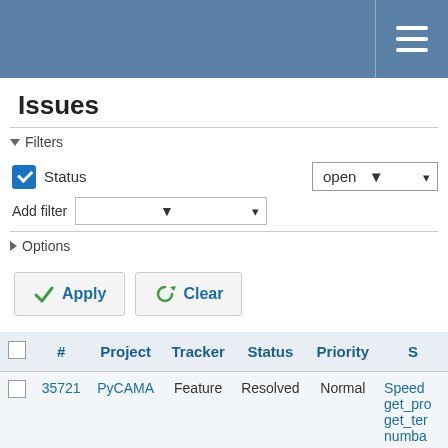Issues tracker header with hamburger menu
Issues
Filters
Status: open
Add filter
Options
Apply  Clear
|  | # | Project | Tracker | Status | Priority | S |
| --- | --- | --- | --- | --- | --- | --- |
|  | 35721 | PyCAMA | Feature | Resolved | Normal | Speed get_pro get_ter numba |
|  | 1511 | PyCAMA | Feature | Resolved | Normal | Synchr variable |
|  | 1012 | dummy | Feature | New | Normal | test ga |